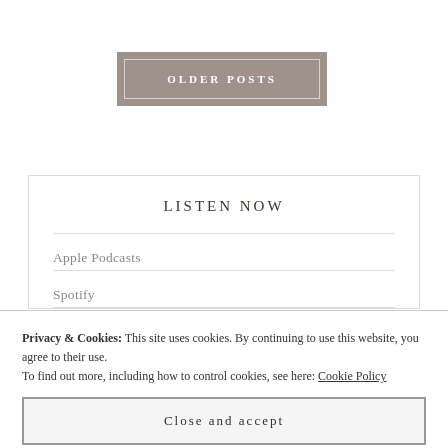OLDER POSTS
LISTEN NOW
Apple Podcasts
Spotify
Privacy & Cookies: This site uses cookies. By continuing to use this website, you agree to their use.
To find out more, including how to control cookies, see here: Cookie Policy
Close and accept
Radio Public